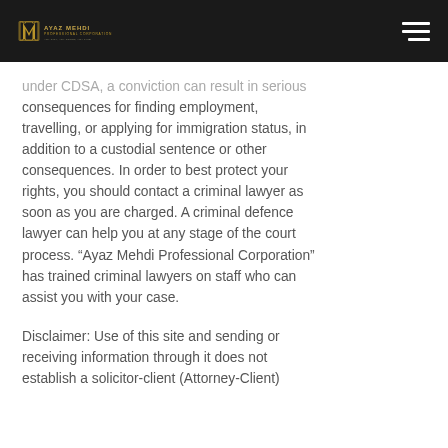[Figure (logo): Ayaz Mehdi Professional Corporation logo — monogram and text on dark header bar]
under CDSA, a conviction can result in serious consequences for finding employment, travelling, or applying for immigration status, in addition to a custodial sentence or other consequences. In order to best protect your rights, you should contact a criminal lawyer as soon as you are charged. A criminal defence lawyer can help you at any stage of the court process. "Ayaz Mehdi Professional Corporation" has trained criminal lawyers on staff who can assist you with your case.
Disclaimer: Use of this site and sending or receiving information through it does not establish a solicitor-client (Attorney-Client)